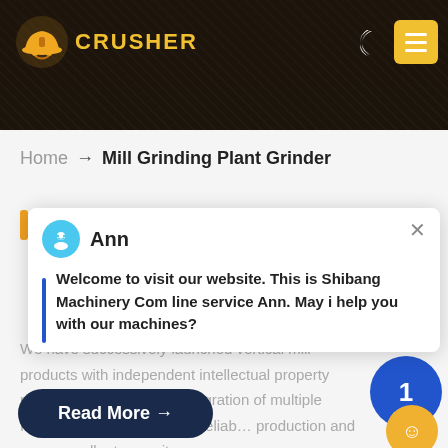[Figure (screenshot): Website header with dark background showing mining/crusher imagery, logo with hard hat icon and CRUSHER text, moon icon and yellow menu button in top right]
[Figure (infographic): Live chat teal bubble with LIVE CHAT text and blue speech bubble icon]
Home → Mill Grinding Plant Grinder
Ann
Welcome to visit our website. This is Shibang Machinery Com line service Ann. May i help you with our machines?
We have successively launched vertical mill products with independent intellectual property rights. Product Featu… Integration of multiple functions, more stable and reliab… production and more excellent capacity
Read More →